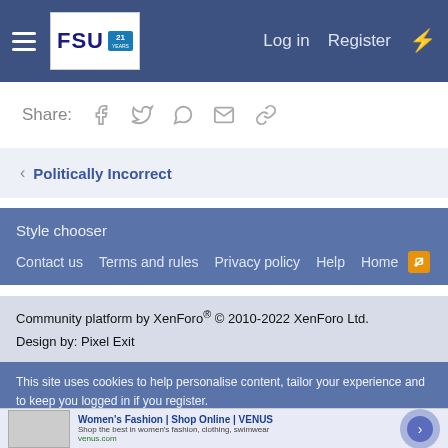FSU Forum — Log in   Register
Share: [facebook] [twitter] [whatsapp] [email] [link]
< Politically Incorrect
Style chooser
Contact us   Terms and rules   Privacy policy   Help   Home  [RSS]
Community platform by XenForo® © 2010-2022 XenForo Ltd.
Design by: Pixel Exit
This site uses cookies to help personalise content, tailor your experience and to keep you logged in if you register.
[Figure (screenshot): Ad banner: Women's Fashion | Shop Online | VENUS — Shop the best in women's fashion, clothing, swimwear — venus.com]